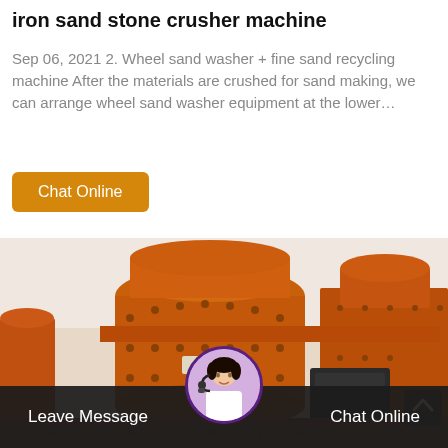iron sand stone crusher machine
Sep 06, 2021 2. Wheel sand washer + fine sand recycling machine After the materials are crushed for sand making, we can arrange wheel sand washer equipment at the lower…
Chat Online
[Figure (photo): Orange industrial stone crusher machines photographed outdoors, showing large cylindrical crushing equipment with bolted metal housing and associated motor/mechanical components.]
Leave Message   Chat Online